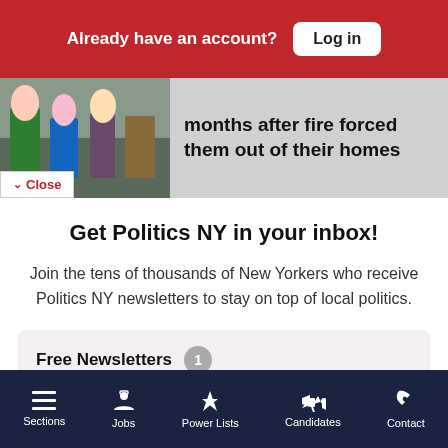Already have an account?  Log in
months after fire forced them out of their homes
Close
Get Politics NY in your inbox!
Join the tens of thousands of New Yorkers who receive Politics NY newsletters to stay on top of local politics.
Free Newsletters  1
Politics NY
Sections  Jobs  Power Lists  Candidates  Contact